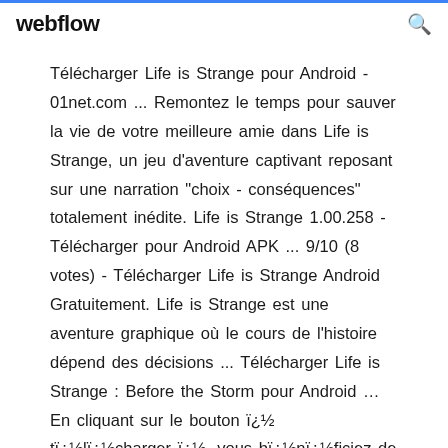webflow
Télécharger Life is Strange pour Android - 01net.com ... Remontez le temps pour sauver la vie de votre meilleure amie dans Life is Strange, un jeu d'aventure captivant reposant sur une narration "choix - conséquences" totalement inédite. Life is Strange 1.00.258 - Télécharger pour Android APK ... 9/10 (8 votes) - Télécharger Life is Strange Android Gratuitement. Life is Strange est une aventure graphique où le cours de l'histoire dépend des décisions ... Télécharger Life is Strange : Before the Storm pour Android ... En cliquant sur le bouton ï¿½ tï¿½lï¿½charger ï¿½, vous bï¿½nï¿½ficiez de notre assistant d'installation,